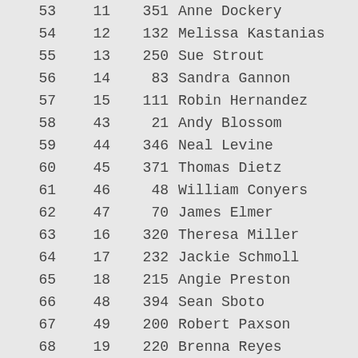| # |  | Bib | Name | Age |
| --- | --- | --- | --- | --- |
| 53 | 11 | 351 | Anne Dockery | 61 |
| 54 | 12 | 132 | Melissa Kastanias | 32 |
| 55 | 13 | 250 | Sue Strout | 55 |
| 56 | 14 | 83 | Sandra Gannon | 43 |
| 57 | 15 | 111 | Robin Hernandez | 44 |
| 58 | 43 | 21 | Andy Blossom | 45 |
| 59 | 44 | 346 | Neal Levine | 45 |
| 60 | 45 | 371 | Thomas Dietz | 57 |
| 61 | 46 | 48 | William Conyers | 40 |
| 62 | 47 | 70 | James Elmer | 53 |
| 63 | 16 | 320 | Theresa Miller | 50 |
| 64 | 17 | 232 | Jackie Schmoll | 29 |
| 65 | 18 | 215 | Angie Preston | 43 |
| 66 | 48 | 394 | Sean Sboto | 23 |
| 67 | 49 | 200 | Robert Paxson | 47 |
| 68 | 19 | 220 | Brenna Reyes | 37 |